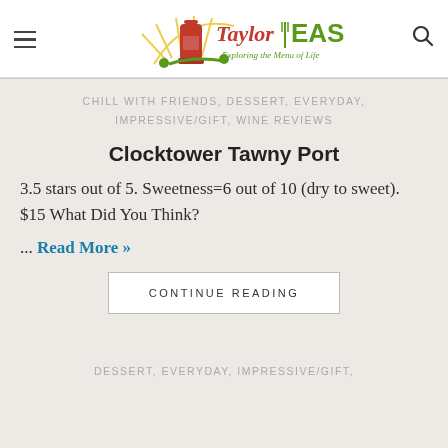[Figure (logo): Taylor Eason blog logo with wine bottle, fork, and tagline 'Exploring the Menu of Life']
CHILL WITH FRIENDS, DESSERT, EVERYDAY, IMPRESSIVE/GIFT, WINE REVIEWS
Clocktower Tawny Port
3.5 stars out of 5. Sweetness=6 out of 10 (dry to sweet). $15 What Did You Think?
... Read More »
CONTINUE READING
DESSERT, EVERYDAY, IMPRESSIVE/GIFT,